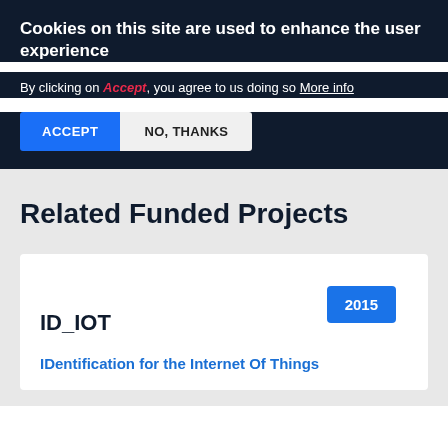Cookies on this site are used to enhance the user experience
By clicking on Accept, you agree to us doing so More info
ACCEPT  NO, THANKS
Related Funded Projects
2015
ID_IOT
IDentification for the Internet Of Things